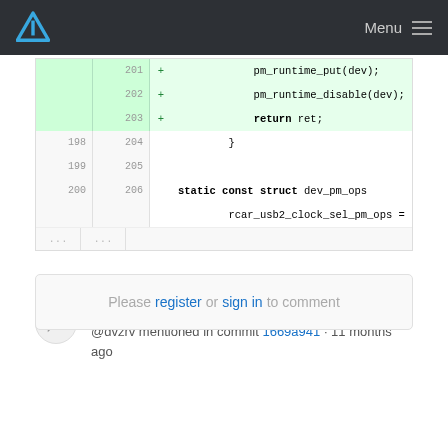Arch Linux — Menu
[Figure (screenshot): Code diff view showing lines 201-206 with added lines (pm_runtime_put, pm_runtime_disable, return ret) highlighted in green, and normal lines showing closing brace, blank, static const struct dev_pm_ops, and rcar_usb2_clock_sel_pm_ops = {]
David Runge
@dvzrv mentioned in commit 1669a941 · 11 months ago
Please register or sign in to comment